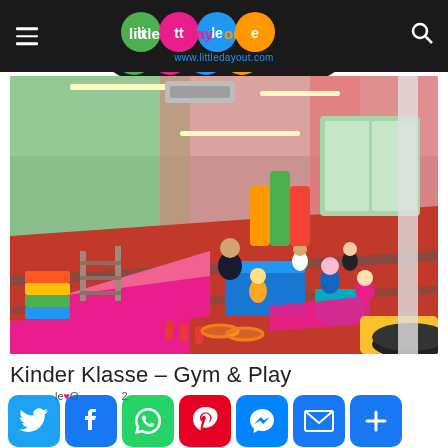little day out — www.littledayout.com
[Figure (photo): Indoor children's gym and play area with colourful foam equipment, mats, trampolines and children playing. Walls are pink and green with large windows. Red floor with blue mats, pink wedge ramps, and a trampoline in the corner.]
Kinder Klasse – Gym & Play
[Figure (infographic): Social media sharing buttons row: Twitter (blue bird), Facebook (white f on blue), WhatsApp (phone on green), Pinterest (P on red), Messenger (lightning bolt on blue), Email (envelope on blue), More/share (plus on blue)]